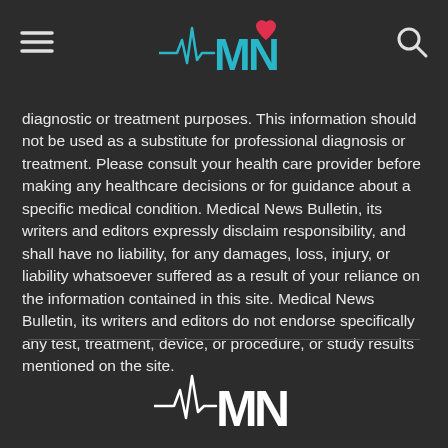Medical News Bulletin logo header with hamburger menu and search icon
diagnostic or treatment purposes. This information should not be used as a substitute for professional diagnosis or treatment. Please consult your health care provider before making any healthcare decisions or for guidance about a specific medical condition. Medical News Bulletin, its writers and editors expressly disclaim responsibility, and shall have no liability, for any damages, loss, injury, or liability whatsoever suffered as a result of your reliance on the information contained in this site. Medical News Bulletin, its writers and editors do not endorse specifically any test, treatment, device, or procedure, or study results mentioned on the site.
[Figure (logo): Medical News Bulletin logo MNB with heartbeat line at bottom of page]